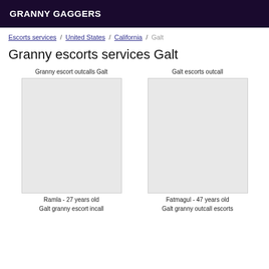GRANNY GAGGERS
Escorts services / United States / California / Galt
Granny escorts services Galt
Granny escort outcalls Galt
Galt escorts outcall
Ramla - 27 years old
Fatmagul - 47 years old
Galt granny escort incall
Galt granny outcall escorts